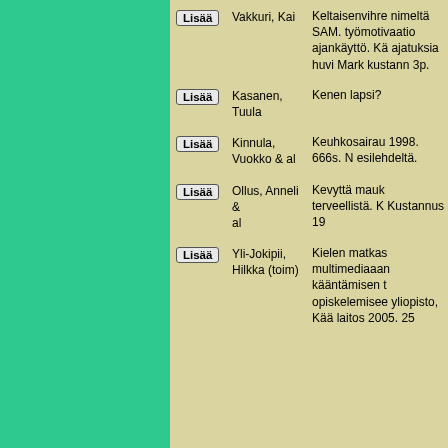Lisää | Vakkuri, Kai | Keltaisenvihreä nimeltä SAMA. työmotivaatio ajankäyttö. Käsityksiä huvi Mark kustann 3p.
Lisää | Kasanen, Tuula | Kenen lapsi?
Lisää | Kinnula, Vuokko & al | Keuhkosairauksista 1998. 666s. Nimeke esilehdeltä.
Lisää | Ollus, Anneli & al | Kevyttä maukasta terveellistä. Kustannus 19
Lisää | Yli-Jokipii, Hilkka (toim) | Kielen matkas multimediaanien kääntämisen t opiskelemiseen yliopisto, Käännnöslaitos 2005. 25